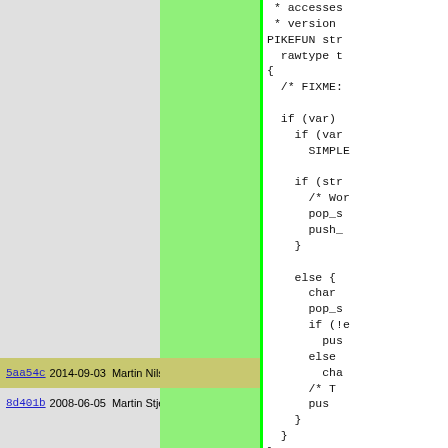Code view showing git blame annotations with commit hashes, dates, and authors alongside C/Pike source code. Left gray column shows annotation metadata; green highlighted column; right column shows code.
5aa54c  2014-09-03  Martin Nilsson
8d401b  2008-06-05  Martin Stjernholm
* accesses
 * version
PIKEFUN str
  rawtype t
{
  /* FIXME:

  if (var)
    if (var
      SIMPLE

    if (str
      /* Wor
      pop_s
      push_
    }

    else {
      char
      pop_s
      if (!e
        pus
      else
        cha
      /* T
      pus
    }
  }
}